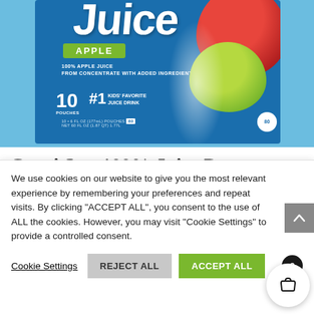[Figure (photo): Capri Sun 100% Apple Juice box product photo with apple imagery and water splash]
Capri Sun 100% Juice Paw Patrol Naturally Flavored 100% Apple Juice, 10 ct Box, 6 fl oz
We use cookies on our website to give you the most relevant experience by remembering your preferences and repeat visits. By clicking "ACCEPT ALL", you consent to the use of ALL the cookies. However, you may visit "Cookie Settings" to provide a controlled consent.
Cookie Settings  REJECT ALL  ACCEPT ALL